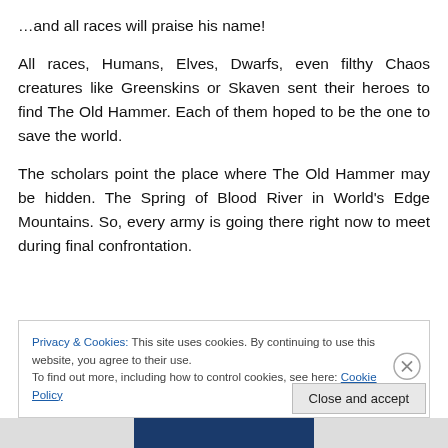…and all races will praise his name!
All races, Humans, Elves, Dwarfs, even filthy Chaos creatures like Greenskins or Skaven sent their heroes to find The Old Hammer. Each of them hoped to be the one to save the world.
The scholars point the place where The Old Hammer may be hidden. The Spring of Blood River in World's Edge Mountains. So, every army is going there right now to meet during final confrontation.
Privacy & Cookies: This site uses cookies. By continuing to use this website, you agree to their use.
To find out more, including how to control cookies, see here: Cookie Policy
Close and accept